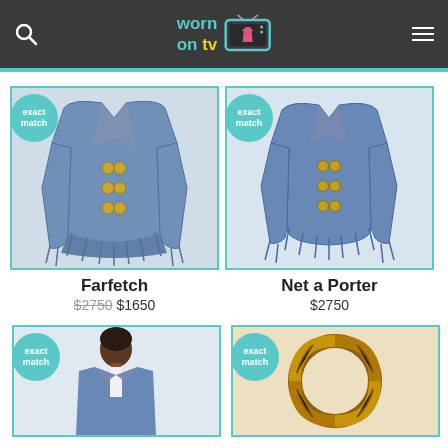Worn on TV
[Figure (photo): Blue fringe tweed jacket product photo from Farfetch]
Farfetch
$2750 $1650
[Figure (photo): Blue fringe tweed jacket product photo from Net a Porter]
Net a Porter
$2750
[Figure (photo): Person wearing blue tweed jacket, partial bottom card]
[Figure (photo): Bamboo handle bag, partial bottom card]